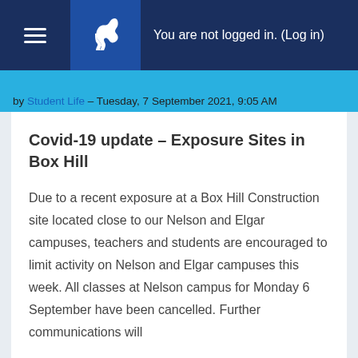You are not logged in. (Log in)
by Student Life – Tuesday, 7 September 2021, 9:05 AM
Covid-19 update – Exposure Sites in Box Hill
Due to a recent exposure at a Box Hill Construction site located close to our Nelson and Elgar campuses, teachers and students are encouraged to limit activity on Nelson and Elgar campuses this week. All classes at Nelson campus for Monday 6 September have been cancelled. Further communications will